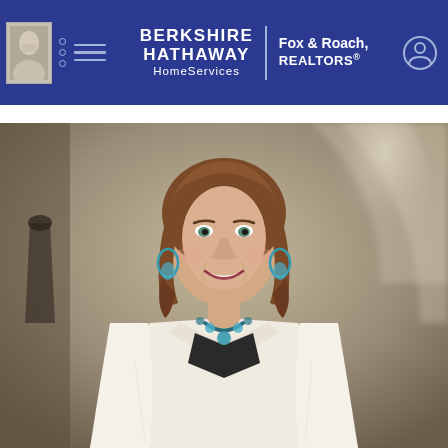[Figure (screenshot): Berkshire Hathaway HomeServices Fox & Roach, REALTORS navigation header bar in dark blue, with agent thumbnail, hamburger menu, brand logo, vertical divider, franchise name, and user account icon]
[Figure (photo): Professional headshot of a smiling woman with auburn shoulder-length wavy hair, wearing a white blazer over a black top with a teal statement necklace and matching earrings, photographed in a blurred interior hallway background]